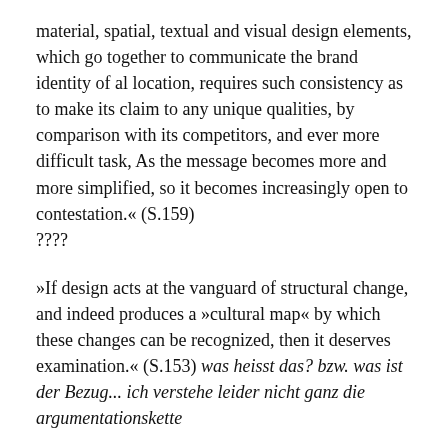material, spatial, textual and visual design elements, which go together to communicate the brand identity of al location, requires such consistency as to make its claim to any unique qualities, by comparison with its competitors, and ever more difficult task, As the message becomes more and more simplified, so it becomes increasingly open to contestation.« (S.159)
????
»If design acts at the vanguard of structural change, and indeed produces a »cultural map« by which these changes can be recognized, then it deserves examination.« (S.153) was heisst das? bzw. was ist der Bezug... ich verstehe leider nicht ganz die argumentationskette
In meiner Stadt, meinem Viertel: Leipzig, Neustadt-Neuschönefeld, gibt es eine steigende Anzahl von